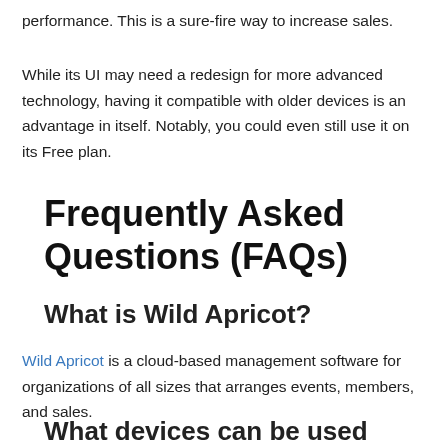performance. This is a sure-fire way to increase sales.
While its UI may need a redesign for more advanced technology, having it compatible with older devices is an advantage in itself. Notably, you could even still use it on its Free plan.
Frequently Asked Questions (FAQs)
What is Wild Apricot?
Wild Apricot is a cloud-based management software for organizations of all sizes that arranges events, members, and sales.
What devices can be used with Wild Apricot